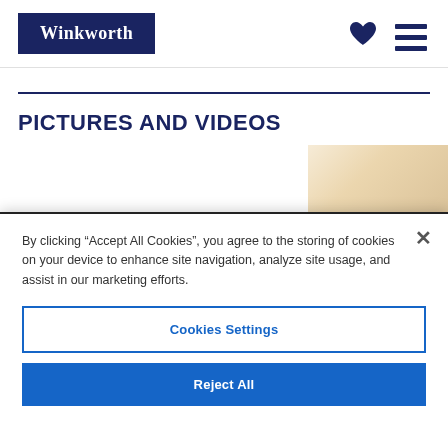Winkworth
PICTURES AND VIDEOS
[Figure (photo): Partial interior room photo visible in top-right background]
By clicking “Accept All Cookies”, you agree to the storing of cookies on your device to enhance site navigation, analyze site usage, and assist in our marketing efforts.
Cookies Settings
Reject All